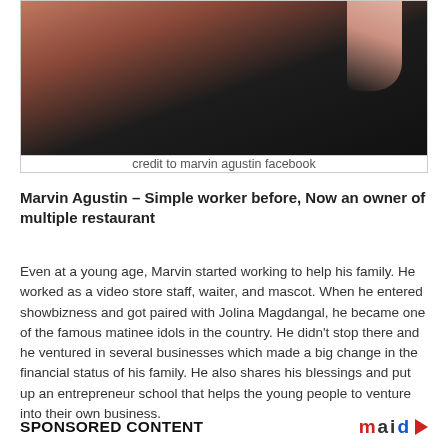[Figure (photo): Partial photo showing a person wearing a black top against a reddish background, with a hand/finger visible at the right side. Photo is cropped at the top.]
credit to marvin agustin facebook
Marvin Agustin – Simple worker before, Now an owner of multiple restaurant
Even at a young age, Marvin started working to help his family. He worked as a video store staff, waiter, and mascot. When he entered showbizness and got paired with Jolina Magdangal, he became one of the famous matinee idols in the country. He didn't stop there and he ventured in several businesses which made a big change in the financial status of his family. He also shares his blessings and put up an entrepreneur school that helps the young people to venture into their own business.
SPONSORED CONTENT   maid ▶